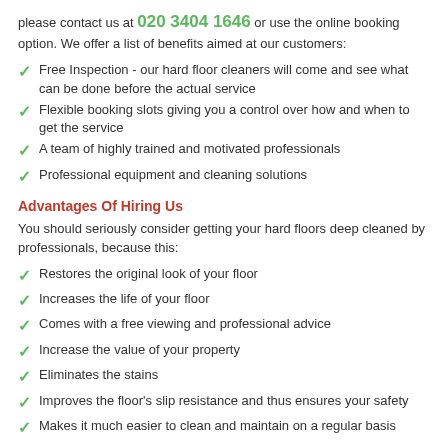please contact us at 020 3404 1646 or use the online booking option. We offer a list of benefits aimed at our customers:
Free Inspection - our hard floor cleaners will come and see what can be done before the actual service
Flexible booking slots giving you a control over how and when to get the service
A team of highly trained and motivated professionals
Professional equipment and cleaning solutions
Advantages Of Hiring Us
You should seriously consider getting your hard floors deep cleaned by professionals, because this:
Restores the original look of your floor
Increases the life of your floor
Comes with a free viewing and professional advice
Increase the value of your property
Eliminates the stains
Improves the floor's slip resistance and thus ensures your safety
Makes it much easier to clean and maintain on a regular basis